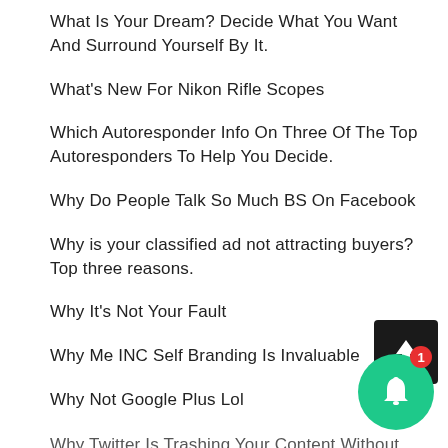What Is Your Dream? Decide What You Want And Surround Yourself By It.
What's New For Nikon Rifle Scopes
Which Autoresponder Info On Three Of The Top Autoresponders To Help You Decide.
Why Do People Talk So Much BS On Facebook
Why is your classified ad not attracting buyers? Top three reasons.
Why It's Not Your Fault
Why Me INC Self Branding Is Invaluable
Why Not Google Plus Lol
Why Twitter Is Trashing Your Content Without